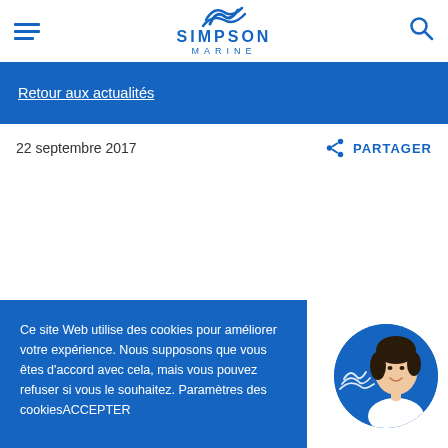SIMPSON MARINE
Retour aux actualités
22 septembre 2017
PARTAGER
Ce site Web utilise des cookies pour améliorer votre expérience. Nous supposons que vous êtes d'accord avec cela, mais vous pouvez refuser si vous le souhaitez. Paramètres des cookiesACCEPTER
[Figure (photo): Circular avatar photo of a smiling woman in white uniform, with Simpson Marine logo visible on left edge of circle, on blue background]